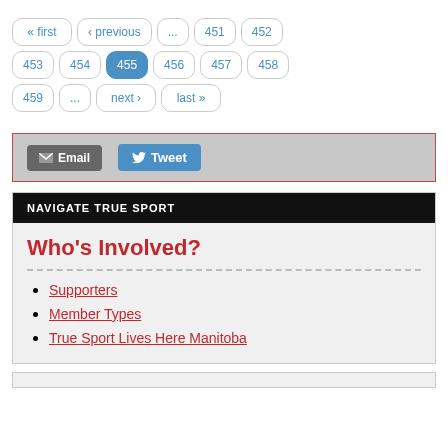[Figure (screenshot): Pagination control with buttons: « first, ‹ previous, ..., 451, 452, 453, 454, 455 (active/highlighted), 456, 457, 458, 459, ..., next ›, last »]
[Figure (screenshot): Social sharing bar with Email button (dark grey) and Tweet button (blue) inside a grey box with red border]
NAVIGATE TRUE SPORT
Who's Involved?
Supporters
Member Types
True Sport Lives Here Manitoba